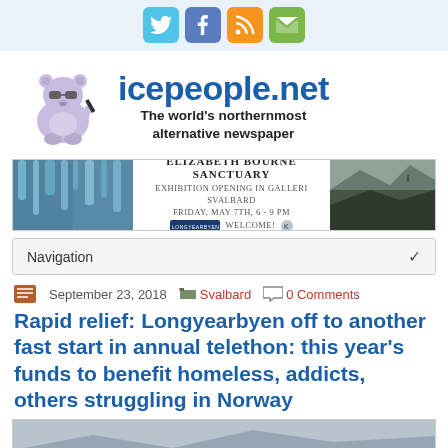[Figure (other): Social media icons bar: Twitter (blue), Facebook (blue), RSS (orange), Email (green)]
[Figure (logo): icepeople.net logo with cartoon polar bear mascot and text 'icepeople.net - The world's northernmost alternative newspaper']
[Figure (other): Banner advertisement for Elizabeth Bourne Sanctuary exhibition at Galleri Svalbard, Friday May 7th 6-9pm, Welcome!]
Navigation
September 23, 2018   Svalbard   0 Comments
Rapid relief: Longyearbyen off to another fast start in annual telethon: this year's funds to benefit homeless, addicts, others struggling in Norway
[Figure (photo): Partial photo of Longyearbyen area, showing boats or structures with mountain backdrop]